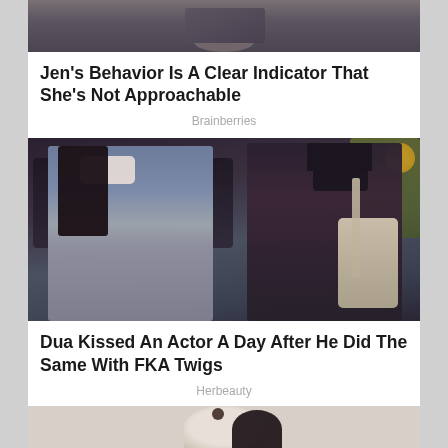[Figure (photo): Top portion of a person in a dark sweater with arms crossed, sitting on a couch]
Jen's Behavior Is A Clear Indicator That She's Not Approachable
Brainberries
[Figure (photo): Two people wearing face masks walking outside near a parked SUV. Left person wears a blue vest over a t-shirt; right person wears a dark cap and dark shirt with a beige crossbody bag.]
Dua Kissed An Actor A Day After He Did The Same With FKA Twigs
Herbeauty
[Figure (photo): Partial view of a person with dark hair, bottom of the page]